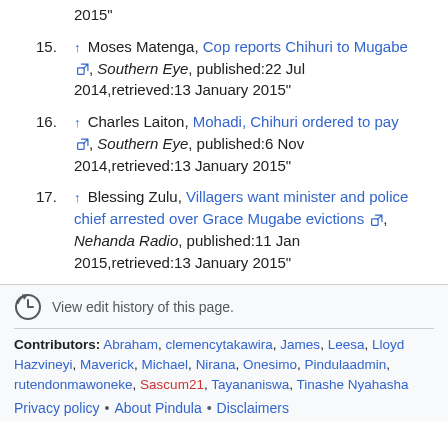2015"
15. ↑ Moses Matenga, Cop reports Chihuri to Mugabe [ext], Southern Eye, published:22 Jul 2014,retrieved:13 January 2015"
16. ↑ Charles Laiton, Mohadi, Chihuri ordered to pay [ext], Southern Eye, published:6 Nov 2014,retrieved:13 January 2015"
17. ↑ Blessing Zulu, Villagers want minister and police chief arrested over Grace Mugabe evictions [ext], Nehanda Radio, published:11 Jan 2015,retrieved:13 January 2015"
View edit history of this page.
Contributors: Abraham, clemencytakawira, James, Leesa, Lloyd Hazvineyi, Maverick, Michael, Nirana, Onesimo, Pindulaadmin, rutendonmawoneke, Sascum21, Tayananiswa, Tinashe Nyahasha
Privacy policy • About Pindula • Disclaimers